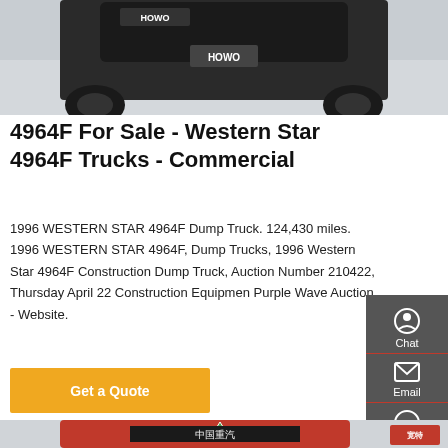[Figure (photo): Rear view of a HOWO truck parked on concrete surface, showing dual rear wheels and HOWO branding on the tailgate and cab]
4964F For Sale - Western Star 4964F Trucks - Commercial
1996 WESTERN STAR 4964F Dump Truck. 124,430 miles. 1996 WESTERN STAR 4964F, Dump Trucks, 1996 Western Star 4964F Construction Dump Truck, Auction Number 210422, Thursday April 22 Construction Equipmen Purple Wave Auction - Website.
[Figure (other): Orange/amber 'Get a Quote' button]
[Figure (photo): Front top view of a Chinese truck cab with green triangle warning sign on roof and Chinese characters on the cab header, with a logo in the bottom right corner]